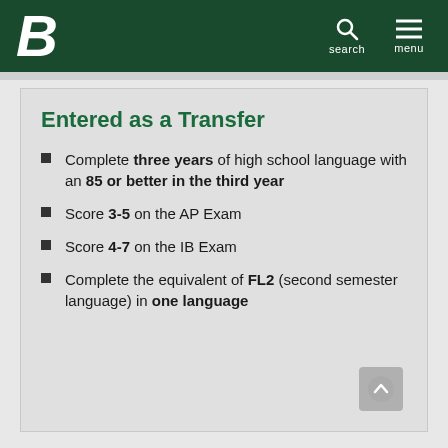Boise State University header with search and menu
Entered as a Transfer
Complete three years of high school language with an 85 or better in the third year
Score 3-5 on the AP Exam
Score 4-7 on the IB Exam
Complete the equivalent of FL2 (second semester language) in one language